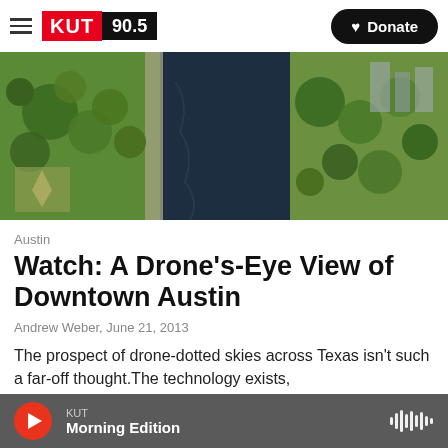KUT 90.5 | Donate
[Figure (photo): Aerial drone view of downtown Austin, Texas showing a river (Lady Bird Lake) flanked by green parks and trees, with urban areas visible in the background.]
Austin
Watch: A Drone's-Eye View of Downtown Austin
Andrew Weber,  June 21, 2013
The prospect of drone-dotted skies across Texas isn't such a far-off thought.The technology exists,
KUT Morning Edition